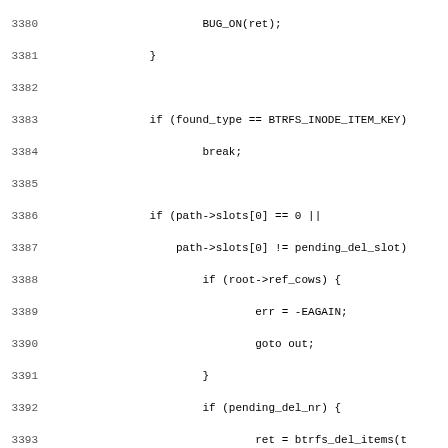Source code listing lines 3380-3411, C kernel code (btrfs filesystem)